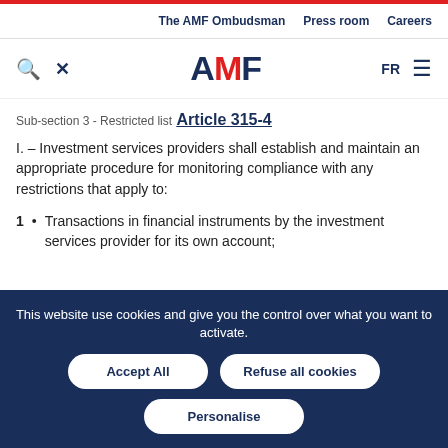The AMF Ombudsman   Press room   Careers
[Figure (logo): AMF logo with search icon, close icon, FR language selector and hamburger menu]
Sub-section 3 - Restricted list
Article 315-4
I. – Investment services providers shall establish and maintain an appropriate procedure for monitoring compliance with any restrictions that apply to:
Transactions in financial instruments by the investment services provider for its own account;
This website use cookies and give you the control over what you want to activate.